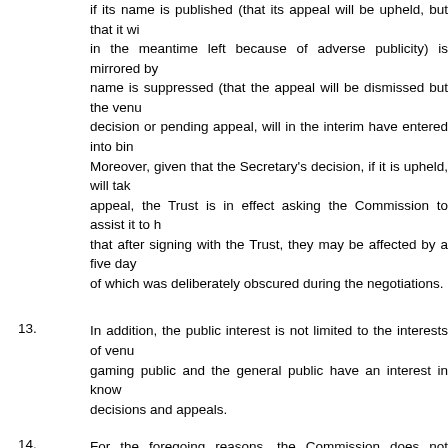if its name is published (that its appeal will be upheld, but that it will in the meantime left because of adverse publicity) is mirrored by name is suppressed (that the appeal will be dismissed but the venue decision or pending appeal, will in the interim have entered into binding. Moreover, given that the Secretary's decision, if it is upheld, will take appeal, the Trust is in effect asking the Commission to assist it to h that after signing with the Trust, they may be affected by a five day of which was deliberately obscured during the negotiations.
13.	In addition, the public interest is not limited to the interests of venue. gaming public and the general public have an interest in knowing decisions and appeals.
14.	For the foregoing reasons, the Commission does not consider that would be in the interests of justice. The considerations advanced general principle of open justice.
Decision of the Commission
15.	The Commission declines the Trust's application for non-publication.
16.	The Commission's decision deals only with an application for name under the Official Information Act 1982, which led to the application